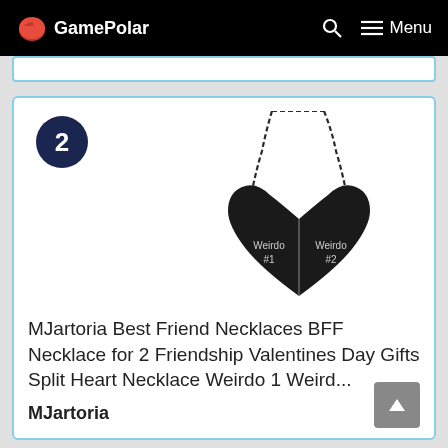GamePolar
[Figure (photo): Two black split heart necklaces engraved with 'Weirdo #1' and 'Weirdo #2' on chains, forming a heart shape together.]
MJartoria Best Friend Necklaces BFF Necklace for 2 Friendship Valentines Day Gifts Split Heart Necklace Weirdo 1 Weird...
MJartoria